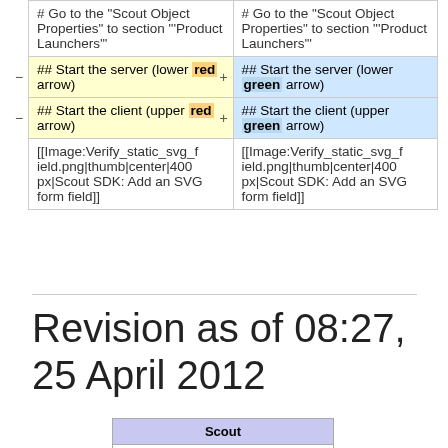| (removed) | (added) |
| --- | --- |
| # Go to the "Scout Object Properties" to section "'Product Launchers'" | # Go to the "Scout Object Properties" to section "'Product Launchers'" |
| ## Start the server (lower red arrow) | ## Start the server (lower green arrow) |
| ## Start the client (upper red arrow) | ## Start the client (upper green arrow) |
| [[Image:Verify_static_svg_field.png|thumb|center|400px|Scout SDK: Add an SVG form field]] | [[Image:Verify_static_svg_field.png|thumb|center|400px|Scout SDK: Add an SVG form field]] |
Revision as of 08:27, 25 April 2012
| Scout |
| --- |
| Wiki Home |